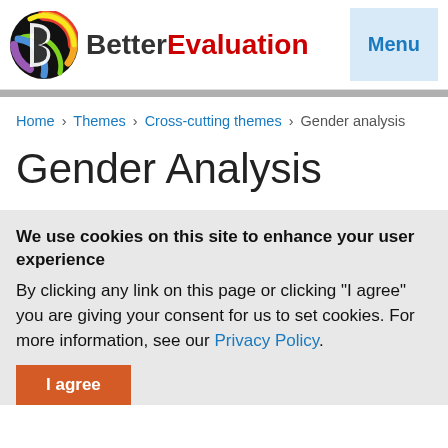BetterEvaluation | Menu
Home › Themes › Cross-cutting themes › Gender analysis
Gender Analysis
We use cookies on this site to enhance your user experience
By clicking any link on this page or clicking "I agree" you are giving your consent for us to set cookies. For more information, see our Privacy Policy.
I agree